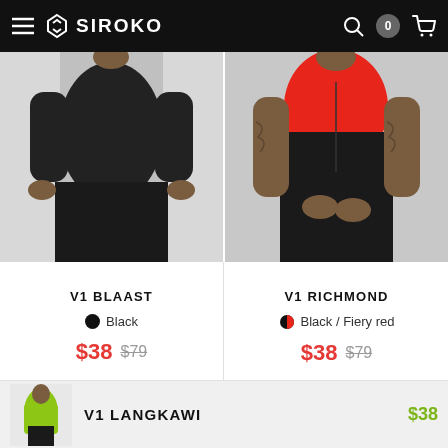SIROKO
[Figure (photo): Male cyclist wearing black jersey and shorts - V1 BLAAST product]
V1 BLAAST
Black
$38 $79
[Figure (photo): Male cyclist wearing black and fiery red jersey - V1 RICHMOND product]
V1 RICHMOND
Black / Fiery red
$38 $79
[Figure (photo): Male cyclist wearing lime green and black vest - V1 LANGKAWI product thumbnail]
V1 LANGKAWI
$38
Choose your size
SHOP NOW